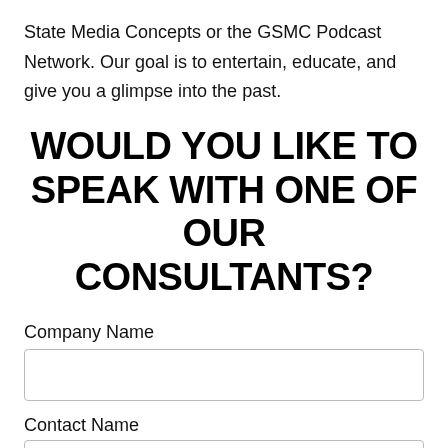State Media Concepts or the GSMC Podcast Network. Our goal is to entertain, educate, and give you a glimpse into the past.
WOULD YOU LIKE TO SPEAK WITH ONE OF OUR CONSULTANTS?
Company Name
Contact Name